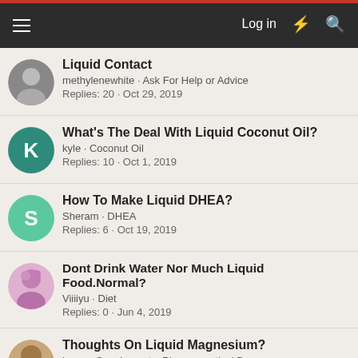Log in
Liquid Contact
methylenewhite · Ask For Help or Advice
Replies: 20 · Oct 29, 2019
What's The Deal With Liquid Coconut Oil?
kyle · Coconut Oil
Replies: 10 · Oct 1, 2019
How To Make Liquid DHEA?
Sheram · DHEA
Replies: 6 · Oct 19, 2019
Dont Drink Water Nor Much Liquid Food.Normal?
Viiiiyu · Diet
Replies: 0 · Jun 4, 2019
Thoughts On Liquid Magnesium?
jzeno · Supplements, Pharmaceutical Drugs
Replies: 20 · Jul 12, 2020